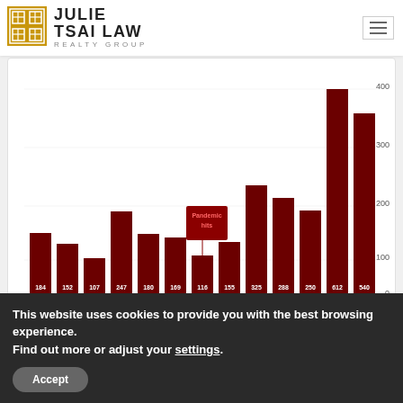JULIE TSAI LAW REALTY GROUP
[Figure (bar-chart): ]
Sales reported to NorCal Regional MLS, per Infosparks. Data from sources deemed reliable, but subject to error and revision. All numbers approximate. Last period reading may change with late-reported sales.
[Figure (other): COMPASS logo]
Santa Clara County Luxury Home Market
12 Months Sales, Sales Prices of $4,000,000+
$4m - $4,999,999 | $5m - $6,999,999 | $7m - $9,999,999 | $10 Million+
September 2021 Update: 12 months sales reported to MLS
This website uses cookies to provide you with the best browsing experience.
Find out more or adjust your settings.